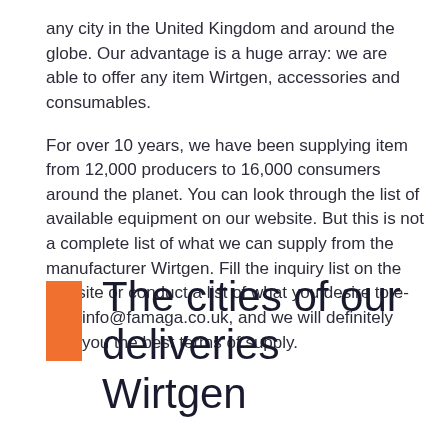any city in the United Kingdom and around the globe. Our advantage is a huge array: we are able to offer any item Wirtgen, accessories and consumables.
For over 10 years, we have been supplying item from 12,000 producers to 16,000 consumers around the planet. You can look through the list of available equipment on our website. But this is not a complete list of what we can supply from the manufacturer Wirtgen. Fill the inquiry list on the website or conduct a list of what you desire to e-mail info@famaga.co.uk, and we will definitely give you the best terms of supply.
The cities of our deliveries Wirtgen